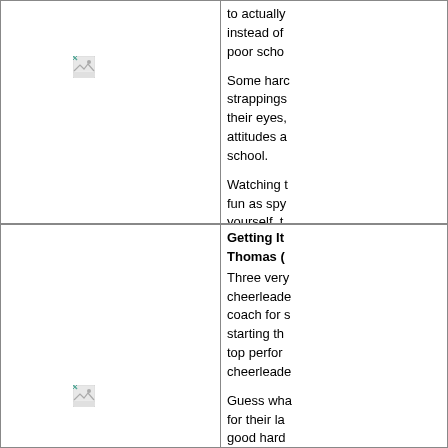[Figure (illustration): Broken/placeholder image icon in top-left cell]
to actually instead of poor scho...
Some haro strappings their eyes, attitudes a school.
Watching t fun as spy yourself, t
More Info
[Figure (illustration): Broken/placeholder image icon in bottom-left cell]
Getting It Thomas (
Three very cheerleade coach for s starting th top perfor cheerleade
Guess wha for their la good hard pretty bare...